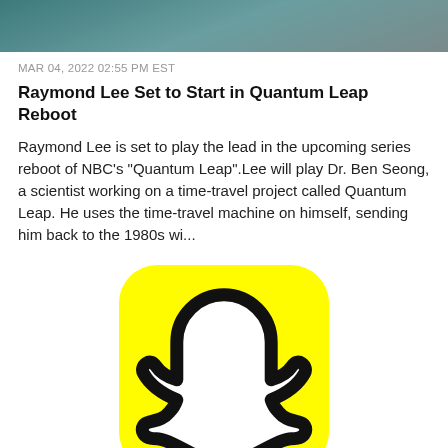[Figure (photo): Cropped photo strip at top of page showing a person in a teal/dark outfit, partially visible]
MAR 04, 2022 02:55 PM EST
Raymond Lee Set to Start in Quantum Leap Reboot
Raymond Lee is set to play the lead in the upcoming series reboot of NBC's "Quantum Leap".Lee will play Dr. Ben Seong, a scientist working on a time-travel project called Quantum Leap. He uses the time-travel machine on himself, sending him back to the 1980s wi...
[Figure (logo): Snapchat ghost logo on yellow rounded square background]